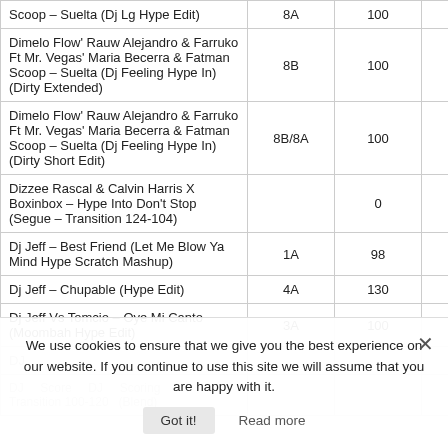| Title | Key | BPM | Duration |
| --- | --- | --- | --- |
| Scoop – Suelta (Dj Lg Hype Edit) | 8A | 100 | 02:3 |
| Dimelo Flow' Rauw Alejandro & Farruko Ft Mr. Vegas' Maria Becerra & Fatman Scoop – Suelta (Dj Feeling Hype In) (Dirty Extended) | 8B | 100 | 03:1 |
| Dimelo Flow' Rauw Alejandro & Farruko Ft Mr. Vegas' Maria Becerra & Fatman Scoop – Suelta (Dj Feeling Hype In) (Dirty Short Edit) | 8B/8A | 100 | 02:4 |
| Dizzee Rascal & Calvin Harris X Boxinbox – Hype Into Don't Stop (Segue – Transition 124-104) |  | 0 | 03:3 |
| Dj Jeff – Best Friend (Let Me Blow Ya Mind Hype Scratch Mashup) | 1A | 98 | 03:4 |
| Dj Jeff – Chupable (Hype Edit) | 4A | 130 | 03:3 |
| Dj Jeff Vs Tomcio – Oye Mi Canto (Moombah Hype Edit) | 3A | 100 | 02:3 |
We use cookies to ensure that we give you the best experience on our website. If you continue to use this site we will assume that you are happy with it.